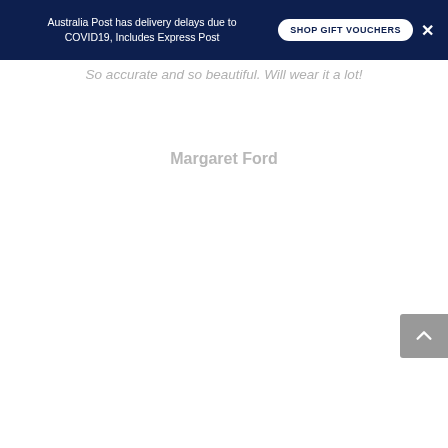Australia Post has delivery delays due to COVID19, Includes Express Post
So accurate and so beautiful. Will wear it a lot!
Margaret Ford